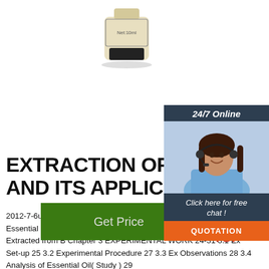[Figure (photo): Product bottle labeled Net:10ml, cream/gold colored container with black cap]
[Figure (infographic): 24/7 Online chat widget with female customer service agent wearing headset, Click here for free chat text, and QUOTATION button]
EXTRACTION OF ESSENT AND ITS APPLICATIONS
2012-7-6u2002·u20022.5 Methods of Extracting 15 2.6 Extraction of Essential Oil by using Steam method 18 2.7 Application of oil Extracted from B Chapter 3 EXPERIMENTAL WORK 24-31 3.1 Ex Set-up 25 3.2 Experimental Procedure 27 3.3 Ex Observations 28 3.4 Analysis of Essential Oil( Study ) 29
[Figure (infographic): Green Get Price button]
[Figure (logo): TOP logo with red dot pyramid icon above text TOP]